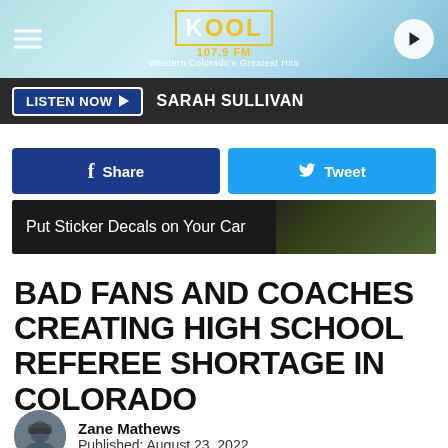[Figure (logo): KOOL 107.9 FM radio station header with logo, hamburger menu, and play button]
LISTEN NOW ▶   SARAH SULLIVAN
[Figure (infographic): Facebook Share button and Twitter Tweet button side by side]
[Figure (photo): Advertisement banner: Put Sticker Decals on Your Car]
BAD FANS AND COACHES CREATING HIGH SCHOOL REFEREE SHORTAGE IN COLORADO
Zane Mathews
Published: August 23, 2022